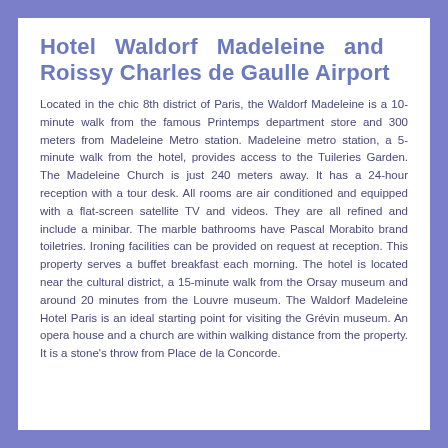Hotel Waldorf Madeleine and Roissy Charles de Gaulle Airport
Located in the chic 8th district of Paris, the Waldorf Madeleine is a 10-minute walk from the famous Printemps department store and 300 meters from Madeleine Metro station. Madeleine metro station, a 5-minute walk from the hotel, provides access to the Tuileries Garden. The Madeleine Church is just 240 meters away. It has a 24-hour reception with a tour desk. All rooms are air conditioned and equipped with a flat-screen satellite TV and videos. They are all refined and include a minibar. The marble bathrooms have Pascal Morabito brand toiletries. Ironing facilities can be provided on request at reception. This property serves a buffet breakfast each morning. The hotel is located near the cultural district, a 15-minute walk from the Orsay museum and around 20 minutes from the Louvre museum. The Waldorf Madeleine Hotel Paris is an ideal starting point for visiting the Grévin museum. An opera house and a church are within walking distance from the property. It is a stone's throw from Place de la Concorde.